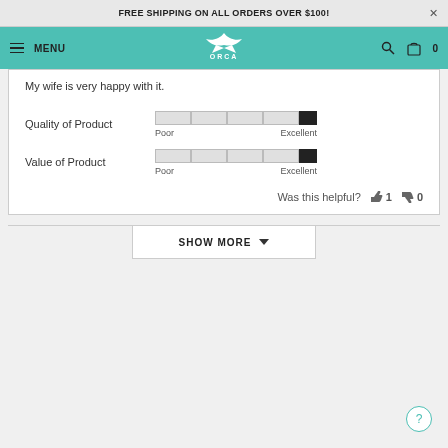FREE SHIPPING ON ALL ORDERS OVER $100!
[Figure (logo): ORCA brand logo with navigation bar in teal/green]
My wife is very happy with it.
[Figure (infographic): Quality of Product rating bar from Poor to Excellent, filled near maximum]
[Figure (infographic): Value of Product rating bar from Poor to Excellent, filled near maximum]
Was this helpful? 👍 1 👎 0
SHOW MORE ▼